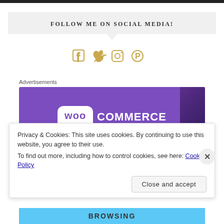FOLLOW ME ON SOCIAL MEDIA!
[Figure (infographic): Four social media icons (Facebook, Twitter, Instagram, Pinterest) displayed in gold/amber color]
Advertisements
[Figure (logo): WooCommerce logo on purple background with dark corner accent]
Privacy & Cookies: This site uses cookies. By continuing to use this website, you agree to their use. To find out more, including how to control cookies, see here: Cookie Policy
Close and accept